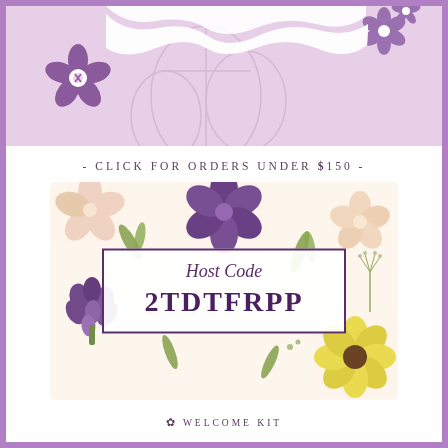[Figure (illustration): Decorative floral banner with purple/lavender background, floral motifs in purple shades, and a wavy-edged white shape in the center top]
- CLICK FOR ORDERS UNDER $150 -
[Figure (infographic): Decorative floral card with colorful flowers (purple, yellow, pink, green) on cream background featuring a Host Code box with label 'Host Code' in script and code '2TDTFRPP' in bold purple]
WELCOME KIT